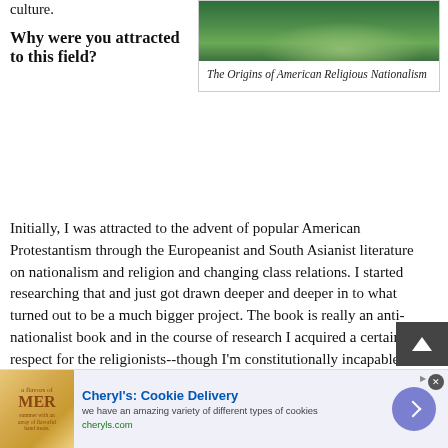culture.
[Figure (photo): Book cover image for The Origins of American Religious Nationalism showing an outdoor scene with green landscape]
The Origins of American Religious Nationalism
Why were you attracted to this field?
Initially, I was attracted to the advent of popular American Protestantism through the Europeanist and South Asianist literature on nationalism and religion and changing class relations. I started researching that and just got drawn deeper and deeper in to what turned out to be a much bigger project. The book is really an anti-nationalist book and in the course of research I acquired a certain respect for the religionists--though I'm constitutionally incapable on that front.
Cheryl's: Cookie Delivery
we have an amazing variety of different types of cookies
cheryls.com